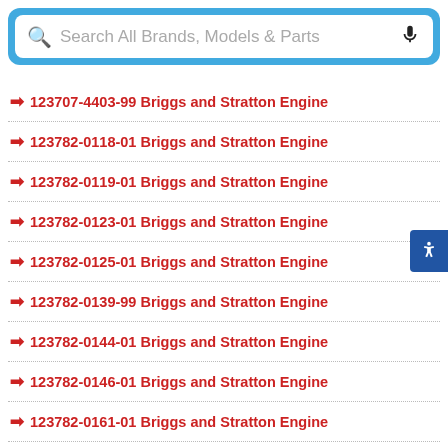[Figure (screenshot): Search bar with magnifying glass icon, placeholder text 'Search All Brands, Models & Parts', and microphone icon, inside a blue rounded rectangle.]
123707-4403-99 Briggs and Stratton Engine
123782-0118-01 Briggs and Stratton Engine
123782-0119-01 Briggs and Stratton Engine
123782-0123-01 Briggs and Stratton Engine
123782-0125-01 Briggs and Stratton Engine
123782-0139-99 Briggs and Stratton Engine
123782-0144-01 Briggs and Stratton Engine
123782-0146-01 Briggs and Stratton Engine
123782-0161-01 Briggs and Stratton Engine
123782-0162-01 Briggs and Stratton Engine
123782-0418-99 Briggs and Stratton Engine
123782-0419-01 Briggs and Stratton Engine